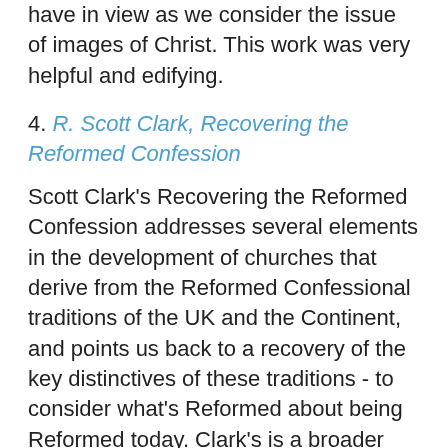have in view as we consider the issue of images of Christ. This work was very helpful and edifying.
4. R. Scott Clark, Recovering the Reformed Confession
Scott Clark's Recovering the Reformed Confession addresses several elements in the development of churches that derive from the Reformed Confessional traditions of the UK and the Continent, and points us back to a recovery of the key distinctives of these traditions - to consider what's Reformed about being Reformed today. Clark's is a broader treatment of similar issues to those explored by Hyde in In Living Color - a firm call to the church to return to the simplicity of the God-ordained means of grace, and to the Reformed Confessions that used to define who we are. In the 20th cenutry (and before, as I'm sure Clark would agree) the churches emanating from Reformed roots have seemingly undergone a sad decline, wherein all the things that once served to distinguish the carefully laid out doctrine and practices of the Confessionally Reformed have been gradually diluted from the system. It's as though these churches have rejected the distinction of being a rich, crusty,